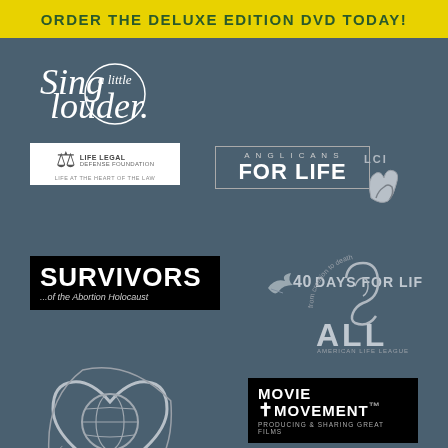ORDER THE DELUXE EDITION DVD TODAY!
[Figure (logo): Sing a little louder logo - white italic serif text]
[Figure (logo): Life Legal Defense Foundation logo - white box with blue text, tagline: LIFE AT THE HEART OF THE LAW]
[Figure (logo): Anglicans FOR LIFE logo in bordered box]
[Figure (logo): LCI logo - gray hands icon]
[Figure (logo): SURVIVORS ...of the Abortion Holocaust logo - black box white bold text]
[Figure (logo): 40 DAYS FOR LIFE logo with bird icon]
[Figure (logo): American Life League (ALL) logo with arc text 'from creation to death']
[Figure (logo): InternationalHelpline.org logo - silver heart with globe]
[Figure (logo): MOVIE MOVEMENT - Producing & Sharing Great Films logo in black box]